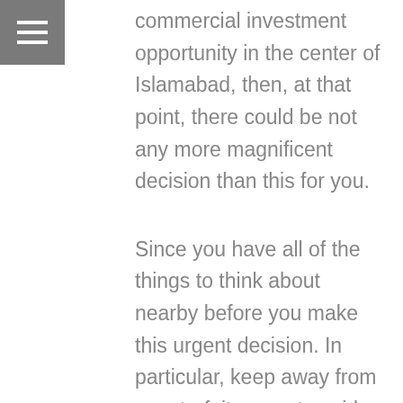commercial investment opportunity in the center of Islamabad, then, at that point, there could be not any more magnificent decision than this for you.
Since you have all of the things to think about nearby before you make this urgent decision. In particular, keep away from counterfeit property guides. Trust some tremendous names like Gharbaar property entrance, their gathering can outfit you with each possible assistance. From rates to